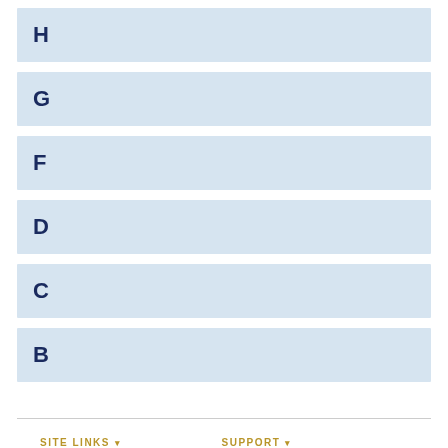H
G
F
D
C
B
SITE LINKS  SUPPORT